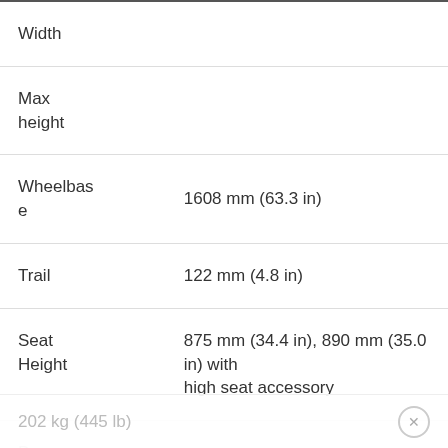| Property | Value |
| --- | --- |
| Width |  |
| Max height |  |
| Wheelbase | 1608 mm (63.3 in) |
| Trail | 122 mm (4.8 in) |
| Seat Height | 875 mm (34.4 in), 890 mm (35.0 in) with high seat accessory |
| Dry Weight | 202 kg (445 lb) |